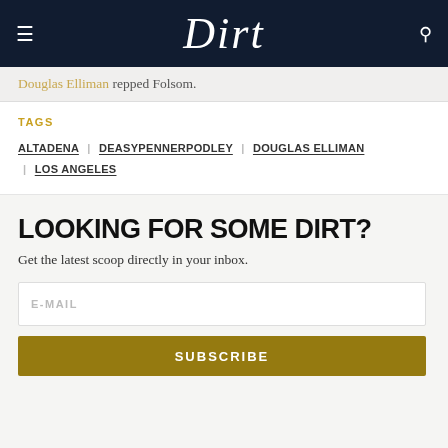Dirt
Douglas Elliman repped Folsom.
TAGS
ALTADENA | DEASYPENNERPODLEY | DOUGLAS ELLIMAN | LOS ANGELES
LOOKING FOR SOME DIRT?
Get the latest scoop directly in your inbox.
E-MAIL
SUBSCRIBE